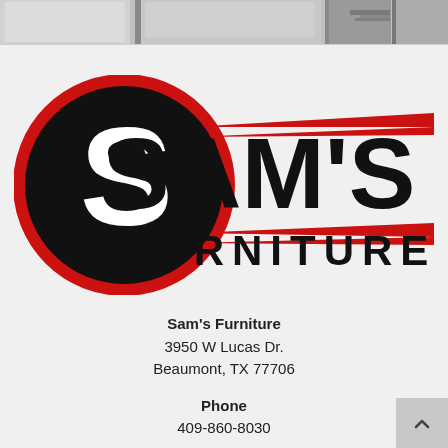[Figure (photo): Header banner photo showing furniture store interior with windows and furniture displays]
[Figure (logo): Sam's Furniture logo: black circle with white S and red ring, with red speed lines, large black bold text SAM'S and FURNITURE below]
Sam's Furniture
3950 W Lucas Dr.
Beaumont, TX 77706
Phone
409-860-8030